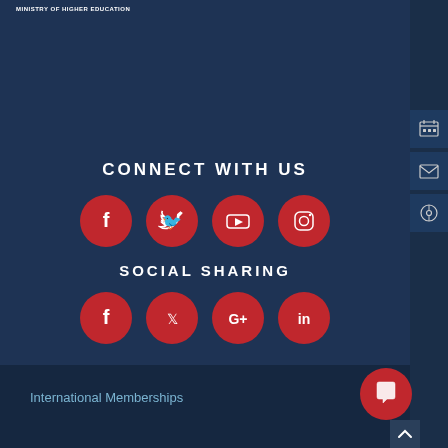MINISTRY OF HIGHER EDUCATION
CONNECT WITH US
[Figure (infographic): Four red circular social media icons: Facebook, Twitter, YouTube, Instagram]
SOCIAL SHARING
[Figure (infographic): Four red circular social sharing icons: Facebook, Twitter, Google+, LinkedIn]
International Memberships